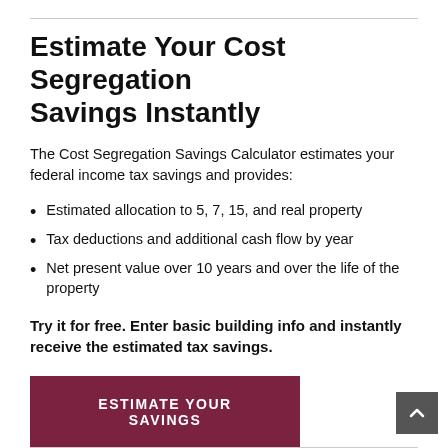Estimate Your Cost Segregation Savings Instantly
The Cost Segregation Savings Calculator estimates your federal income tax savings and provides:
Estimated allocation to 5, 7, 15, and real property
Tax deductions and additional cash flow by year
Net present value over 10 years and over the life of the property
Try it for free. Enter basic building info and instantly receive the estimated tax savings.
ESTIMATE YOUR SAVINGS